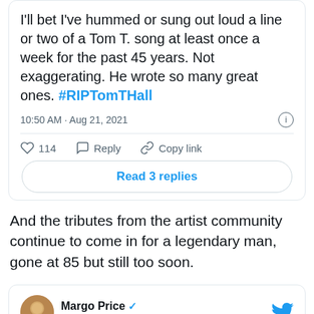[Figure (screenshot): Embedded tweet screenshot: 'I'll bet I've hummed or sung out loud a line or two of a Tom T. song at least once a week for the past 45 years. Not exaggerating. He wrote so many great ones. #RIPTomTHall' posted at 10:50 AM · Aug 21, 2021. Shows 114 likes, Reply, Copy link actions, and 'Read 3 replies' button.]
And the tributes from the artist community continue to come in for a legendary man, gone at 85 but still too soon.
[Figure (screenshot): Beginning of a tweet card from Margo Price (@MissMargoPrice) with verified badge and Follow link. Twitter bird logo in top right.]